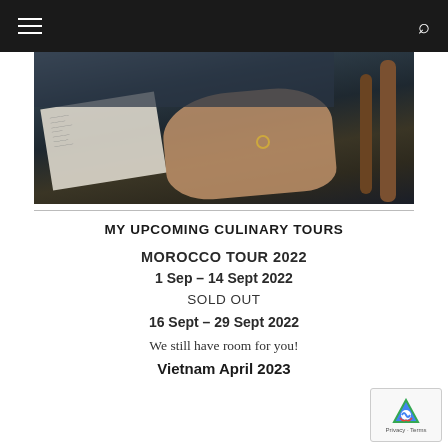Navigation bar with hamburger menu and search icon
[Figure (photo): Person seated at a wooden railed chair/bench, hand resting on knee with a ring visible, holding or near papers/documents. Dark clothing, bamboo or wooden railing in background.]
MY UPCOMING CULINARY TOURS
MOROCCO TOUR 2022
1 Sep – 14 Sept 2022
SOLD OUT
16 Sept – 29 Sept 2022
We still have room for you!
Vietnam April 2023